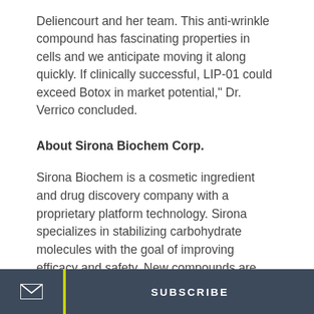Deliencourt and her team. This anti-wrinkle compound has fascinating properties in cells and we anticipate moving it along quickly. If clinically successful, LIP-01 could exceed Botox in market potential," Dr. Verrico concluded.
About Sirona Biochem Corp.
Sirona Biochem is a cosmetic ingredient and drug discovery company with a proprietary platform technology. Sirona specializes in stabilizing carbohydrate molecules with the goal of improving efficacy and safety. New compounds are patented for maximum revenue potential.
Sirona's compounds are licensed to leading companies around the world in return for licensing fees, milestone fees and ongoing royalty payments. Sirona's laboratory is in France and is the recipient of numerous scientific awards and European Union and French government grants. For more information, please visit